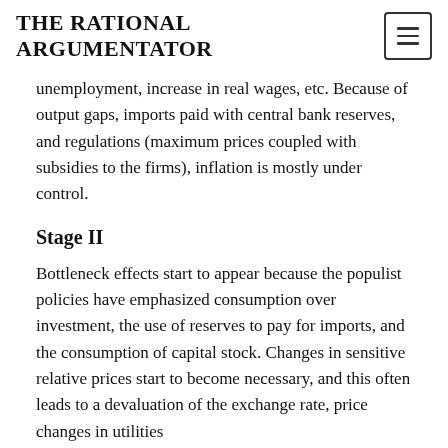THE RATIONAL ARGUMENTATOR
unemployment, increase in real wages, etc. Because of output gaps, imports paid with central bank reserves, and regulations (maximum prices coupled with subsidies to the firms), inflation is mostly under control.
Stage II
Bottleneck effects start to appear because the populist policies have emphasized consumption over investment, the use of reserves to pay for imports, and the consumption of capital stock. Changes in sensitive relative prices start to become necessary, and this often leads to a devaluation of the exchange rate, price changes in utilities